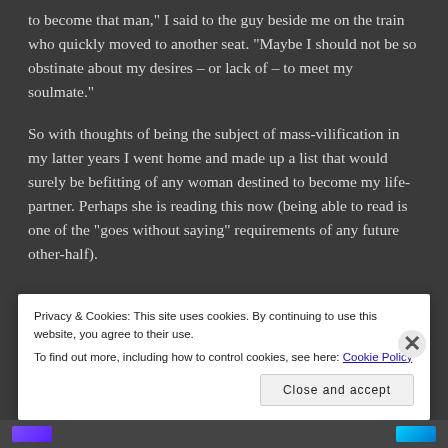to become that man," I said to the guy beside me on the train who quickly moved to another seat. "Maybe I should not be so obstinate about my desires – or lack of – to meet my soulmate."
So with thoughts of being the subject of mass-vilification in my latter years I went home and made up a list that would surely be befitting of any woman destined to become my life-partner. Perhaps she is reading this now (being able to read is one of the "goes without saying" requirements of any future other-half).
REPORT THIS AD
Privacy & Cookies: This site uses cookies. By continuing to use this website, you agree to their use.
To find out more, including how to control cookies, see here: Cookie Policy
Close and accept